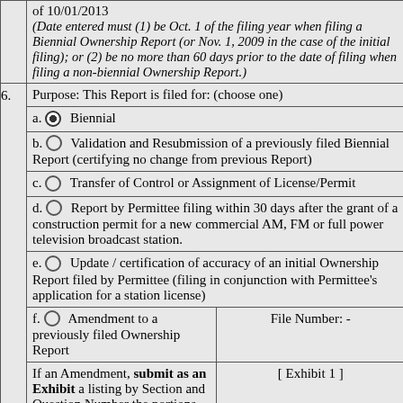| of 10/01/2013
(Date entered must (1) be Oct. 1 of the filing year when filing a Biennial Ownership Report (or Nov. 1, 2009 in the case of the initial filing); or (2) be no more than 60 days prior to the date of filing when filing a non-biennial Ownership Report.) |
| 6. | Purpose: This Report is filed for: (choose one) |
|  | a. [selected] Biennial |
|  | b. [empty] Validation and Resubmission of a previously filed Biennial Report (certifying no change from previous Report) |
|  | c. [empty] Transfer of Control or Assignment of License/Permit |
|  | d. [empty] Report by Permittee filing within 30 days after the grant of a construction permit for a new commercial AM, FM or full power television broadcast station. |
|  | e. [empty] Update / certification of accuracy of an initial Ownership Report filed by Permittee (filing in conjunction with Permittee's application for a station license) |
|  | f. [empty] Amendment to a previously filed Ownership Report | File Number: - |
|  | If an Amendment, submit as an Exhibit a listing by Section and Question Number the portions of the previous Report that are being revised. | [ Exhibit 1 ] |